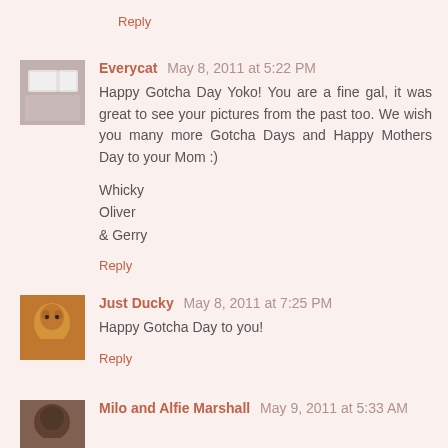Reply
Everycat May 8, 2011 at 5:22 PM
Happy Gotcha Day Yoko! You are a fine gal, it was great to see your pictures from the past too. We wish you many more Gotcha Days and Happy Mothers Day to your Mom :)
Whicky
Oliver
& Gerry
Reply
Just Ducky May 8, 2011 at 7:25 PM
Happy Gotcha Day to you!
Reply
Milo and Alfie Marshall May 9, 2011 at 5:33 AM